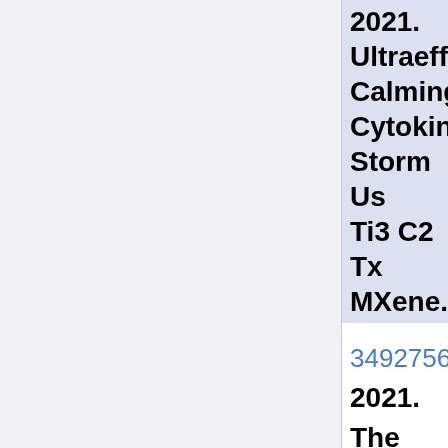2021. Ultraeffic... Calming Cytokine Storm Us... Ti3 C2 Tx... MXene.
349275655
2021. The Role